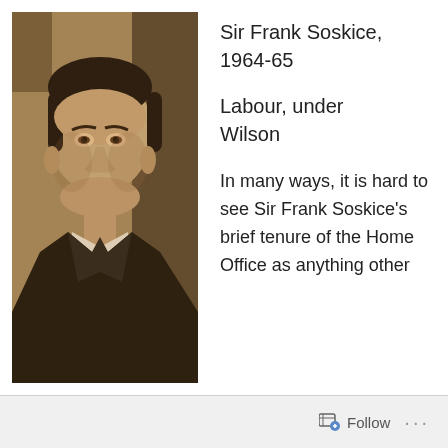[Figure (photo): Sepia-toned portrait photograph of Sir Frank Soskice, a middle-aged man in a dark suit and light tie, looking slightly to the side with a subtle expression.]
Sir Frank Soskice, 1964-65
Labour, under Wilson
In many ways, it is hard to see Sir Frank Soskice’s brief tenure of the Home Office as anything other
Follow ...